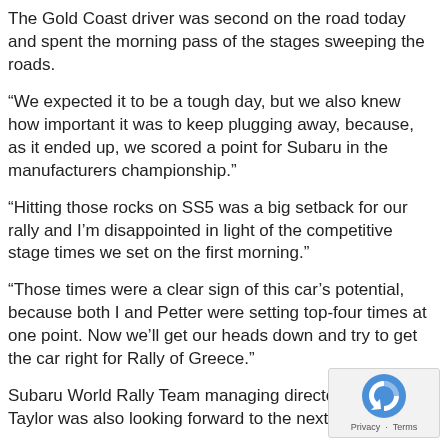The Gold Coast driver was second on the road today and spent the morning pass of the stages sweeping the roads.
“We expected it to be a tough day, but we also knew how important it was to keep plugging away, because, as it ended up, we scored a point for Subaru in the manufacturers championship.”
“Hitting those rocks on SS5 was a big setback for our rally and I’m disappointed in light of the competitive stage times we set on the first morning.”
“Those times were a clear sign of this car’s potential, because both I and Petter were setting top-four times at one point. Now we’ll get our heads down and try to get the car right for Rally of Greece.”
Subaru World Rally Team managing director, Richard Taylor was also looking forward to the next challenge.
“We’ve got to the end of the rally with both cars in the and with Petter and Chris scoring useful manufacture championship points,” Taylor said.